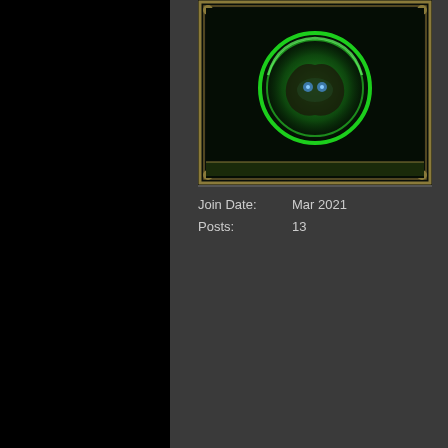[Figure (illustration): Game avatar/card image with green glowing ring and dark creature on ornate border background]
Join Date: Mar 2021
Posts: 13
So, in the store, click
There click "Manage
It shows your current
Under the "Subscripti... the "Delete Payment m...
All there on my accou...
This worked. Thank you so m...
06-29-2021, 04:43 PM
Coffey
Community Member
Join Date: Jun 2018
Posts: 759
Originally Posted b...
So, in the store, click
There click "Manage